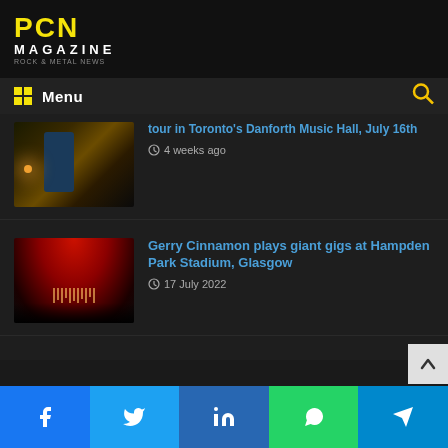PCN MAGAZINE
Menu
tour in Toronto's Danforth Music Hall, July 16th — 4 weeks ago
Gerry Cinnamon plays giant gigs at Hampden Park Stadium, Glasgow — 17 July 2022
Find us on Facebook